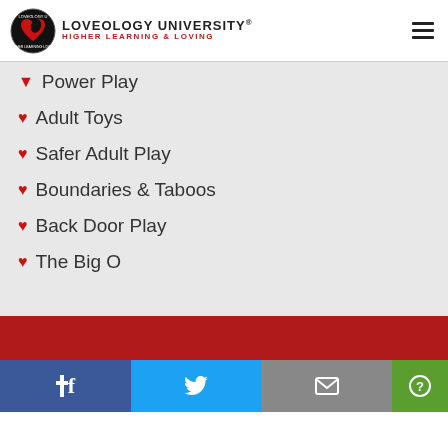LOVEOLOGY UNIVERSITY® HIGHER LEARNING & LOVING
Power Play
Adult Toys
Safer Adult Play
Boundaries & Taboos
Back Door Play
The Big O
Facebook | Twitter | Email | Help